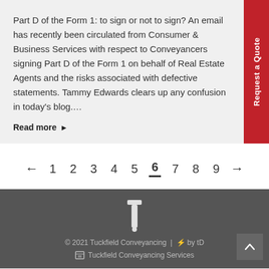Part D of the Form 1: to sign or not to sign? An email has recently been circulated from Consumer & Business Services with respect to Conveyancers signing Part D of the Form 1 on behalf of Real Estate Agents and the risks associated with defective statements. Tammy Edwards clears up any confusion in today's blog.…
Read more ▶
[Figure (other): Red vertical sidebar tab reading 'Request a Quote']
← 1 2 3 4 5 6 7 8 9 →
© 2021 Tuckfield Conveyancing | ⚡ by tD  Tuckfield Conveyancing Services